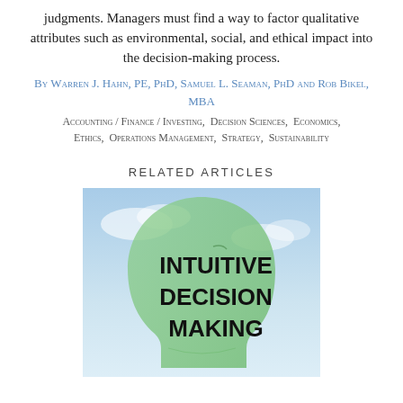judgments. Managers must find a way to factor qualitative attributes such as environmental, social, and ethical impact into the decision-making process.
By Warren J. Hahn, PE, PhD, Samuel L. Seaman, PhD and Rob Bikel, MBA
Accounting / Finance / Investing, Decision Sciences, Economics, Ethics, Operations Management, Strategy, Sustainability
RELATED ARTICLES
[Figure (photo): Image of a human head silhouette in green with text 'INTUITIVE DECISION MAKING' overlaid, sky background]